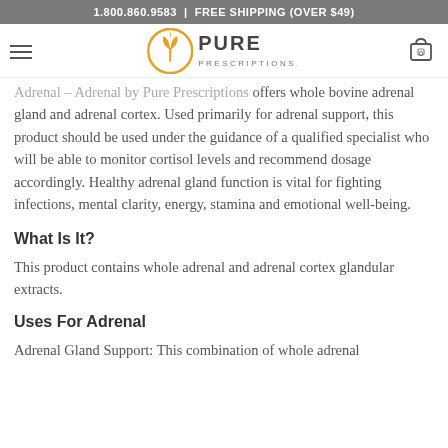1.800.860.9583 | FREE SHIPPING (OVER $49)
[Figure (logo): Pure Prescriptions logo with orange leaf/plant icon in a circle and bold text reading PURE PRESCRIPTIONS]
Adrenal – Adrenal by Pure Prescriptions offers whole bovine adrenal gland and adrenal cortex. Used primarily for adrenal support, this product should be used under the guidance of a qualified specialist who will be able to monitor cortisol levels and recommend dosage accordingly. Healthy adrenal gland function is vital for fighting infections, mental clarity, energy, stamina and emotional well-being.
What Is It?
This product contains whole adrenal and adrenal cortex glandular extracts.
Uses For Adrenal
Adrenal Gland Support: This combination of whole adrenal